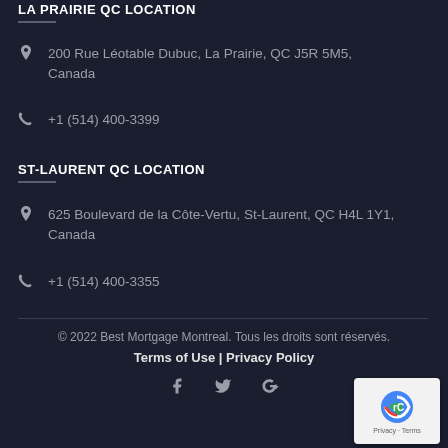LA PRAIRIE QC LOCATION
200 Rue Léotable Dubuc, La Prairie, QC J5R 5M5, Canada
+1 (514) 400-3399
ST-LAURENT QC LOCATION
625 Boulevard de la Côte-Vertu, St-Laurent, QC H4L 1Y1, Canada
+1 (514) 400-3355
© 2022 Best Mortgage Montreal. Tous les droits sont réservés.
Terms of Use | Privacy Policy